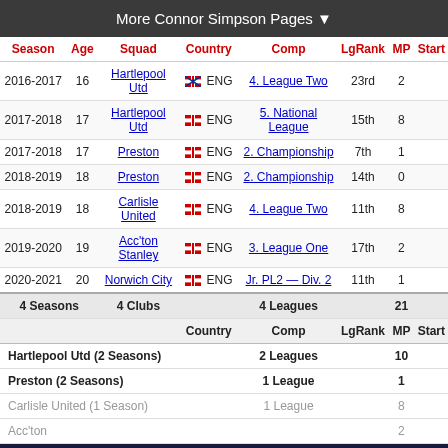More Connor Simpson Pages ▼
| Season | Age | Squad | Country | Comp | LgRank | MP | Start |
| --- | --- | --- | --- | --- | --- | --- | --- |
| 2016-2017 | 16 | Hartlepool Utd | ENG | 4. League Two | 23rd | 2 |  |
| 2017-2018 | 17 | Hartlepool Utd | ENG | 5. National League | 15th | 8 |  |
| 2017-2018 | 17 | Preston | ENG | 2. Championship | 7th | 1 |  |
| 2018-2019 | 18 | Preston | ENG | 2. Championship | 14th | 0 |  |
| 2018-2019 | 18 | Carlisle United | ENG | 4. League Two | 11th | 8 |  |
| 2019-2020 | 19 | Acc'ton Stanley | ENG | 3. League One | 17th | 2 |  |
| 2020-2021 | 20 | Norwich City | ENG | Jr. PL2 — Div. 2 | 11th | 1 |  |
| 4 Seasons |  | 4 Clubs |  | 4 Leagues |  | 21 |  |
|  |  |  | Country | Comp | LgRank | MP | Start |
| Hartlepool Utd (2 Seasons) |  |  |  | 2 Leagues |  | 10 |  |
| Preston (2 Seasons) |  |  |  | 1 League |  | 1 |  |
| Carlisle United (1 Season) |  |  |  | 1 League |  | 8 |  |
| Acc'ton Stanley |  |  |  |  |  | 2 |  |
| Norwich City |  |  |  |  |  | 1 |  |
| League Two (2 Seasons) |  |  |  |  |  | 10 |  |
[Figure (screenshot): Disney Bundle advertisement with Hulu, Disney+, ESPN+ logos and GET THE DISNEY BUNDLE CTA button]